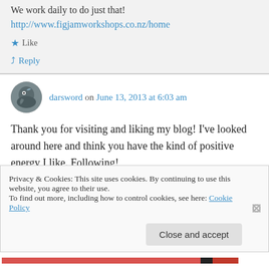We work daily to do just that!
http://www.figjamworkshops.co.nz/home
Like
Reply
darsword on June 13, 2013 at 6:03 am
Thank you for visiting and liking my blog! I've looked around here and think you have the kind of positive energy I like. Following!
Privacy & Cookies: This site uses cookies. By continuing to use this website, you agree to their use. To find out more, including how to control cookies, see here: Cookie Policy
Close and accept